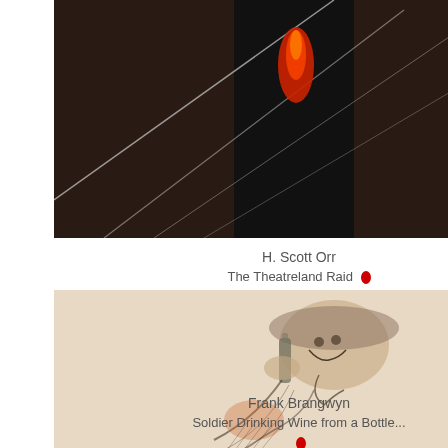[Figure (photo): Dark, moody photograph with diagonal white lines and a red flame or light shape in the upper center against a dark background]
H. Scott Orr
The Theatreland Raid
[Figure (illustration): Pencil and chalk drawing of a soldier wearing a helmet, tilting his head back to drink from a bottle, wearing a striped shirt with a scarf, on a beige background]
Frank Brangwyn
Soldier Drinking Wine from a Bottle...